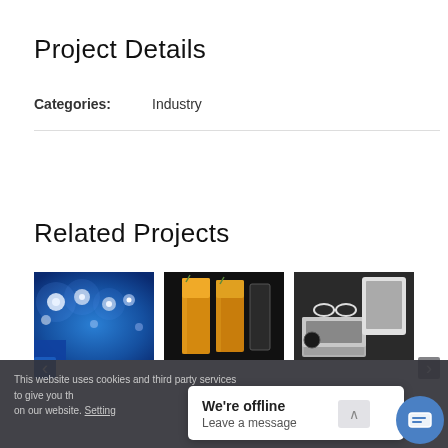Project Details
Categories:   Industry
Related Projects
[Figure (photo): Blue concert stage lights bokeh effect]
[Figure (photo): Yellow cocktail drinks at a bar]
[Figure (photo): Flat lay of tech devices including laptop, tablet, glasses on dark background]
This website uses cookies and third party services to give you the best experience on our website. Settings
We're offline
Leave a message